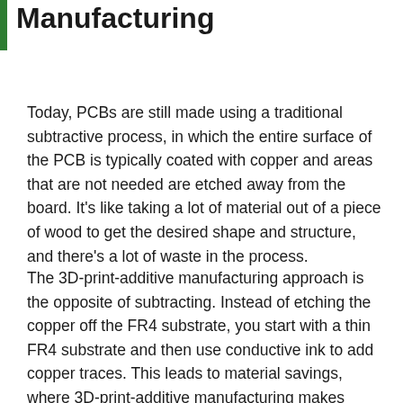Manufacturing
Today, PCBs are still made using a traditional subtractive process, in which the entire surface of the PCB is typically coated with copper and areas that are not needed are etched away from the board. It's like taking a lot of material out of a piece of wood to get the desired shape and structure, and there's a lot of waste in the process.
The 3D-print-additive manufacturing approach is the opposite of subtracting. Instead of etching the copper off the FR4 substrate, you start with a thin FR4 substrate and then use conductive ink to add copper traces. This leads to material savings, where 3D-print-additive manufacturing makes...